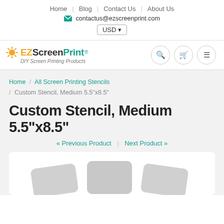Home | Blog | Contact Us | About Us
contactus@ezscreenprint.com
USD
[Figure (logo): EZScreenPrint logo with sun icon and tagline 'DIY Screen Printing Products']
Home / All Screen Printing Stencils / Custom Stencil, Medium 5.5"x8.5"
Custom Stencil, Medium 5.5"x8.5"
« Previous Product | Next Product »
[Figure (photo): Product image showing three rounded rectangle stencil shapes in light grey]